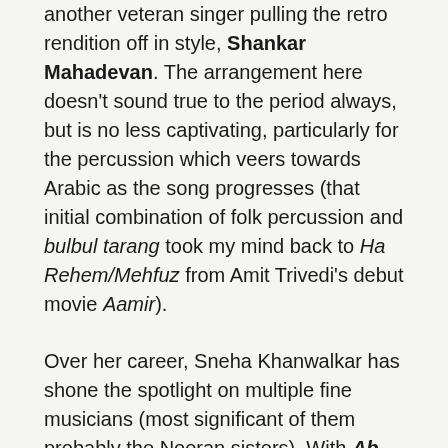another veteran singer pulling the retro rendition off in style, Shankar Mahadevan. The arrangement here doesn't sound true to the period always, but is no less captivating, particularly for the percussion which veers towards Arabic as the song progresses (that initial combination of folk percussion and bulbul tarang took my mind back to Ha Rehem/Mehfuz from Amit Trivedi's debut movie Aamir).
Over her career, Sneha Khanwalkar has shone the spotlight on multiple fine musicians (most significant of them probably the Nooran sisters). With Ab Kya Bataun (beautiful poem by Seemaab Akbarabadi), she goes to another lesser known (in Bollywood, at least), but brilliant singer named Shubha Joshi. The lady she voices for the movie is apparently Ila Arun, playing Jaddanbai. Fitting that a song honouring the first female music director of the industry is composed by another in that league. And